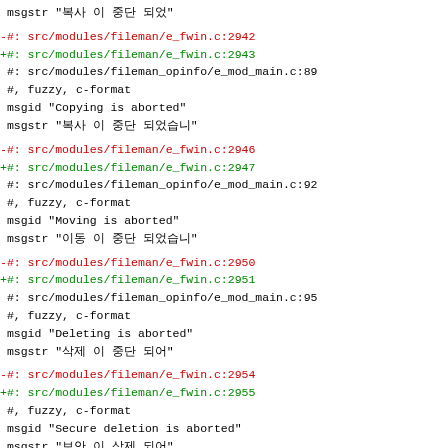msgstr "복사 이 중단 되었"
-#: src/modules/fileman/e_fwin.c:2942
+#: src/modules/fileman/e_fwin.c:2943
 #: src/modules/fileman_opinfo/e_mod_main.c:89
 #, fuzzy, c-format
 msgid "Copying is aborted"
 msgstr "복사 이 중단 되었습니"
-#: src/modules/fileman/e_fwin.c:2946
+#: src/modules/fileman/e_fwin.c:2947
 #: src/modules/fileman_opinfo/e_mod_main.c:92
 #, fuzzy, c-format
 msgid "Moving is aborted"
 msgstr "이동 이 중단 되었습니"
-#: src/modules/fileman/e_fwin.c:2950
+#: src/modules/fileman/e_fwin.c:2951
 #: src/modules/fileman_opinfo/e_mod_main.c:95
 #, fuzzy, c-format
 msgid "Deleting is aborted"
 msgstr "삭제 이 중단 되어"
-#: src/modules/fileman/e_fwin.c:2954
+#: src/modules/fileman/e_fwin.c:2955
 #, fuzzy, c-format
 msgid "Secure deletion is aborted"
 msgstr "보안 이 삭제 되어"
-#: src/modules/fileman/e_fwin.c:2958
+#: src/modules/fileman/e_fwin.c:2959